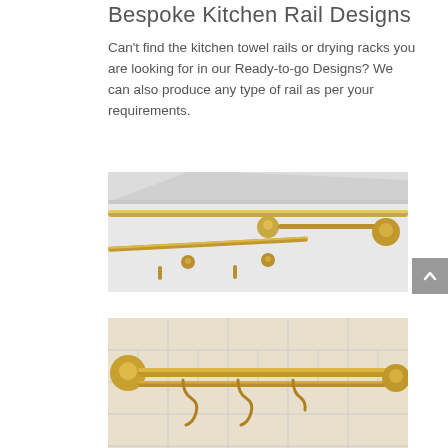Bespoke Kitchen Rail Designs
Can't find the kitchen towel rails or drying racks you are looking for in our Ready-to-go Designs? We can also produce any type of rail as per your requirements.
[Figure (photo): Close-up photo of a polished brass/gold kitchen towel rail with ball-ended brackets mounted on a white wall, showing horizontal bars and mounting rosettes.]
[Figure (photo): Close-up photo of a polished brass/gold kitchen rail with S-hooks hanging from it, mounted against white ceramic tiles.]